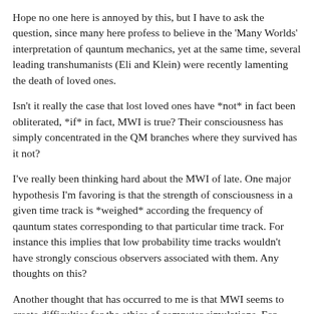Hope no one here is annoyed by this, but I have to ask the question, since many here profess to believe in the 'Many Worlds' interpretation of qauntum mechanics, yet at the same time, several leading transhumanists (Eli and Klein) were recently lamenting the death of loved ones.
Isn't it really the case that lost loved ones have *not* in fact been obliterated, *if* in fact, MWI is true? Their consciousness has simply concentrated in the QM branches where they survived has it not?
I've really been thinking hard about the MWI of late. One major hypothesis I'm favoring is that the strength of consciousness in a given time track is *weighed* according the frequency of qauntum states corresponding to that particular time track. For instance this implies that low probability time tracks wouldn't have strongly conscious observers associated with them. Any thoughts on this?
Another thought that has occurred to me is that MWI seems to create difficulties for the ethics of computer simulations. For instance, a major argument against ancestral simulations is that it would be